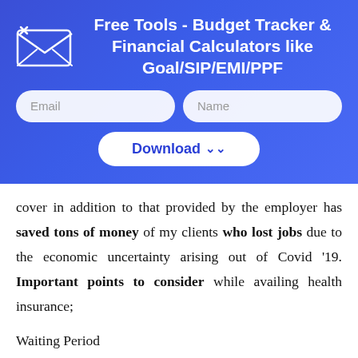Free Tools - Budget Tracker & Financial Calculators like Goal/SIP/EMI/PPF
cover in addition to that provided by the employer has saved tons of money of my clients who lost jobs due to the economic uncertainty arising out of Covid '19. Important points to consider while availing health insurance;
Waiting Period